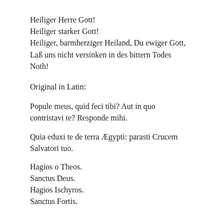Heiliger Herre Gott!
Heiliger starker Gott!
Heiliger, barmherziger Heiland, Du ewiger Gott,
Laß uns nicht versinken in des bittern Todes
Noth!
Original in Latin:
Popule meus, quid feci tibi? Aut in quo contristavi te? Responde mihi.
Quia eduxi te de terra Ægypti: parasti Crucem Salvatori tuo.
Hagios o Theos.
Sanctus Deus.
Hagios Ischyros.
Sanctus Fortis.